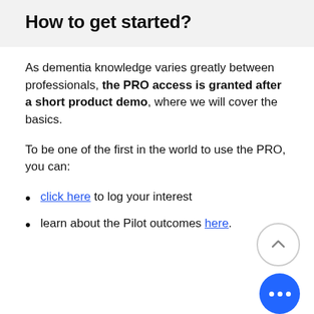How to get started?
As dementia knowledge varies greatly between professionals, the PRO access is granted after a short product demo, where we will cover the basics.
To be one of the first in the world to use the PRO, you can:
click here to log your interest
learn about the Pilot outcomes here.